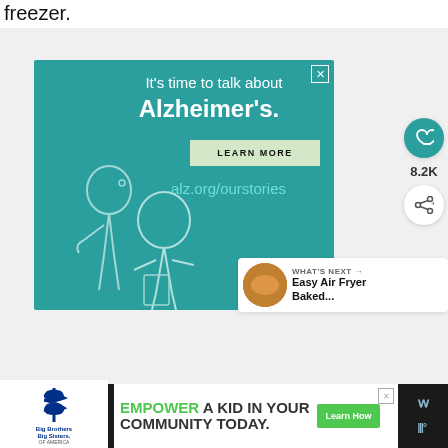freezer.
[Figure (illustration): Alzheimer's Association advertisement banner with teal background. Text reads: It's time to talk about Alzheimer's. LEARN MORE button. alz.org/ourstories URL. Illustrated figures of two elderly people talking. Alzheimer's Association logo and ad badge at bottom right.]
8.2K
WHAT'S NEXT → Easy Air Fryer Baked...
[Figure (illustration): Bottom banner advertisement for Big Brothers Big Sisters and an ad saying EMPOWER A KID IN YOUR COMMUNITY TODAY. with Learn How button. Right side shows a chat/app icon.]